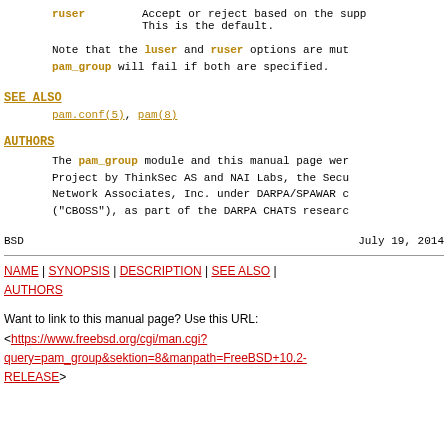ruser    Accept or reject based on the supp. This is the default.
Note that the luser and ruser options are mut pam_group will fail if both are specified.
SEE ALSO
pam.conf(5), pam(8)
AUTHORS
The pam_group module and this manual page wer Project by ThinkSec AS and NAI Labs, the Secu Network Associates, Inc. under DARPA/SPAWAR c ("CBOSS"), as part of the DARPA CHATS researc
BSD                                July 19, 2014
NAME | SYNOPSIS | DESCRIPTION | SEE ALSO | AUTHORS
Want to link to this manual page? Use this URL:
<https://www.freebsd.org/cgi/man.cgi?query=pam_group&sektion=8&manpath=FreeBSD+10.2-RELEASE>